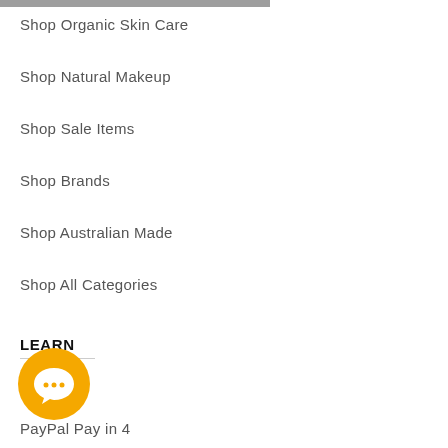Shop Organic Skin Care
Shop Natural Makeup
Shop Sale Items
Shop Brands
Shop Australian Made
Shop All Categories
LEARN
About Us
PayPal Pay in 4
Afterpay Pay in 4
Guides
Privacy Policy
COVID-19 Update
[Figure (illustration): Orange circular chat bubble icon]